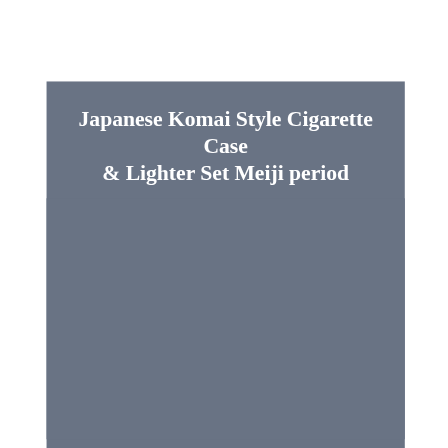Japanese Komai Style Cigarette Case & Lighter Set Meiji period
[Figure (photo): Gray/blue-toned background area serving as image placeholder for the Japanese Komai Style Cigarette Case and Lighter Set]
Jacksons antique are pleased to offer a Japanese damascene Komai style cigarette case and hillman lighter set. The set complete with its original fitted box with material liner and cardboard crocodile look outer. The cigarette case and lighter with scenes around Mount Fuji late Meiji period